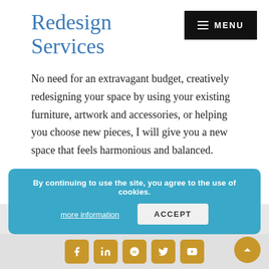Redesign Services
No need for an extravagant budget, creatively redesigning your space by using your existing furniture, artwork and accessories, or helping you choose new pieces, I will give you a new space that feels harmonious and balanced.
What Home Makeover Clients are Saying
By continuing to use the site, you agree to the use of cookies.
more information
ACCEPT